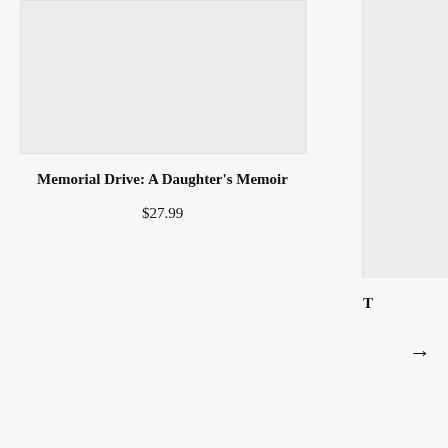[Figure (other): Book cover image placeholder (light gray rectangle) for Memorial Drive: A Daughter's Memoir]
Memorial Drive: A Daughter's Memoir
$27.99
[Figure (other): Partial second book card on the right side, partially cut off. Shows a gray image placeholder and a partially visible bold title starting with 'T'.]
→